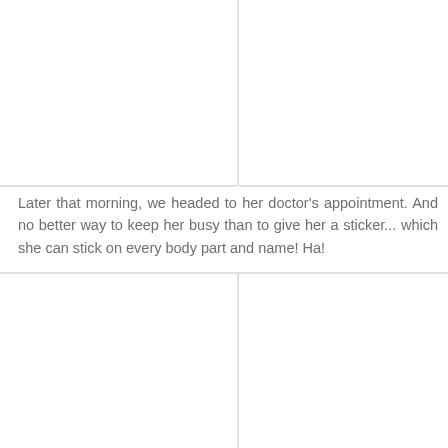Later that morning, we headed to her doctor's appointment. And no better way to keep her busy than to give her a sticker... which she can stick on every body part and name! Ha!